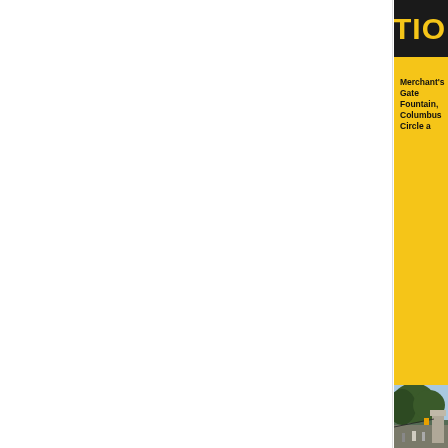LOCATION
Merchant's Gate Fountain, Columbus Circle and Central Park
[Figure (photo): Outdoor photograph of Merchant's Gate Fountain area at Columbus Circle, Central Park. Shows large green trees, people walking, stone monument/statue on the right side, traffic light, and a clear blue sky.]